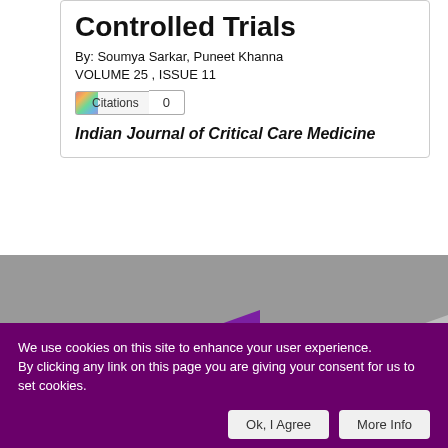Controlled Trials
By: Soumya Sarkar, Puneet Khanna
VOLUME 25 , ISSUE 11
Citations 0
Indian Journal of Critical Care Medicine
[Figure (screenshot): Website banner with gray and purple diagonal design elements]
We use cookies on this site to enhance your user experience. By clicking any link on this page you are giving your consent for us to set cookies.